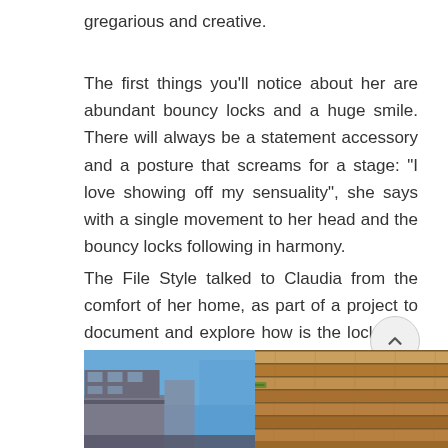gregarious and creative.
The first things you’ll notice about her are abundant bouncy locks and a huge smile. There will always be a statement accessory and a posture that screams for a stage: “I love showing off my sensuality”, she says with a single movement to her head and the bouncy locks following in harmony.
The File Style talked to Claudia from the comfort of her home, as part of a project to document and explore how is the lockdown affecting our generation living under the “new normal” with a focus on identity and style.
[Figure (photo): Photo strip showing two images: left side shows a building with blue sky, right side shows wooden planks/decking texture]